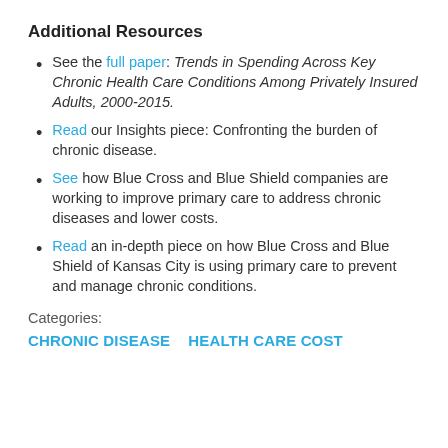Additional Resources
See the full paper: Trends in Spending Across Key Chronic Health Care Conditions Among Privately Insured Adults, 2000-2015.
Read our Insights piece: Confronting the burden of chronic disease.
See how Blue Cross and Blue Shield companies are working to improve primary care to address chronic diseases and lower costs.
Read an in-depth piece on how Blue Cross and Blue Shield of Kansas City is using primary care to prevent and manage chronic conditions.
Categories:
CHRONIC DISEASE   HEALTH CARE COST